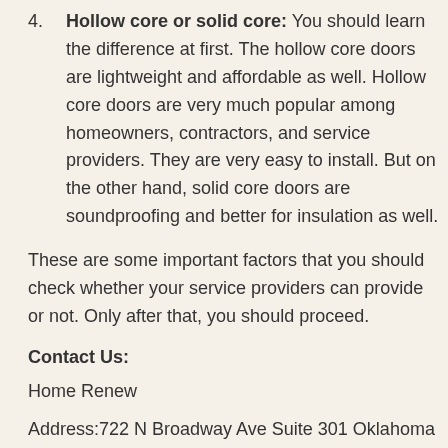4. Hollow core or solid core: You should learn the difference at first. The hollow core doors are lightweight and affordable as well. Hollow core doors are very much popular among homeowners, contractors, and service providers. They are very easy to install. But on the other hand, solid core doors are soundproofing and better for insulation as well.
These are some important factors that you should check whether your service providers can provide or not. Only after that, you should proceed.
Contact Us:
Home Renew
Address:722 N Broadway Ave Suite 301 Oklahoma